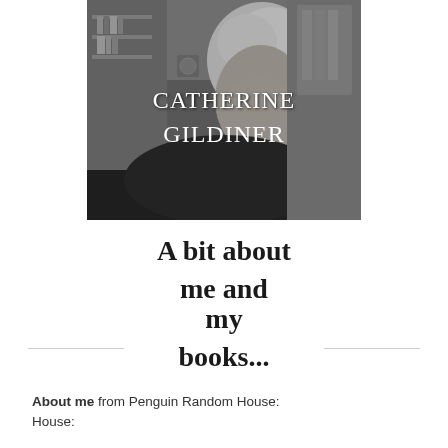[Figure (photo): Black and white portrait photo of Catherine Gildiner, a woman with short white/silver hair wearing a black turtleneck, seated in front of bookshelves. Her name 'CATHERINE GILDINER' is overlaid in white text on the photo.]
A bit about me and my books...
About me from Penguin Random House: